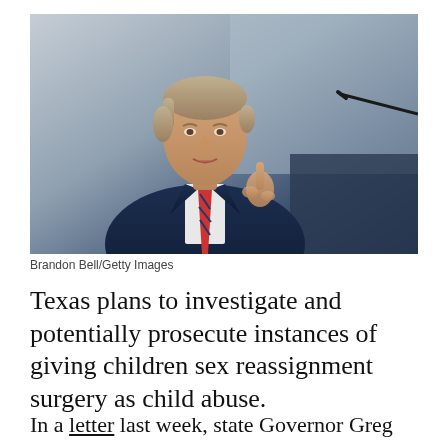[Figure (photo): Man in navy blue suit with red and blue striped tie gesturing with one finger raised, speaking at a podium, likely a political figure]
Brandon Bell/Getty Images
Texas plans to investigate and potentially prosecute instances of giving children sex reassignment surgery as child abuse.
In a letter last week, state Governor Greg